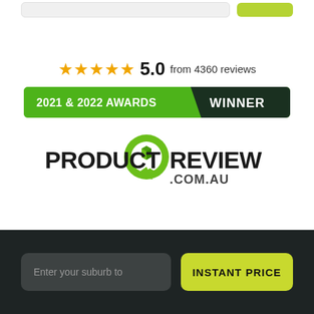[Figure (logo): Top partial UI bar with input field and green button]
★★★★★ 5.0  from 4360 reviews
[Figure (logo): 2021 & 2022 Awards Winner banner with green and dark green sections]
[Figure (logo): ProductReview.com.au logo with green speech bubble icon]
Enter your suburb to
INSTANT PRICE